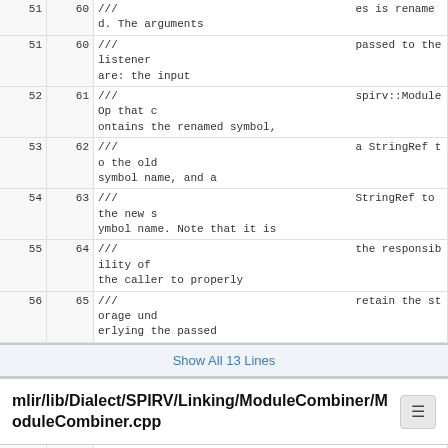| ln | ln | code |
| --- | --- | --- |
| 51 | 60 | ///                                    passed to the listener are: the input |
| 52 | 61 | ///                                    spirv::ModuleOp that c ontains the renamed symbol, |
| 53 | 62 | ///                                    a StringRef to the old symbol name, and a |
| 54 | 63 | ///                                    StringRef to the new s ymbol name. Note that it is |
| 55 | 64 | ///                                    the responsibility of the caller to properly |
| 56 | 65 | ///                                    retain the storage und erlying the passed |
Show All 13 Lines
mlir/lib/Dialect/SPIRV/Linking/ModuleCombiner/ModuleCombiner.cpp
| ln | ln | code |
| --- | --- | --- |
| 1 | 1 | //====- ModuleCombiner.cpp - MLIR SPIR-V Module Combiner ---------*- C++ -*-====// |
| 2 | 2 | // |
| 3 | 3 | // Part of the LLVM Project, under the Apache License V2.0 with LLVM Exceptions. |
| 4 | 4 | // See https://llvm.org/LICENSE.txt for license information. |
| 5 | 5 | // SPDX License Identifier: Apache 2.0 WITH LLVM exc |